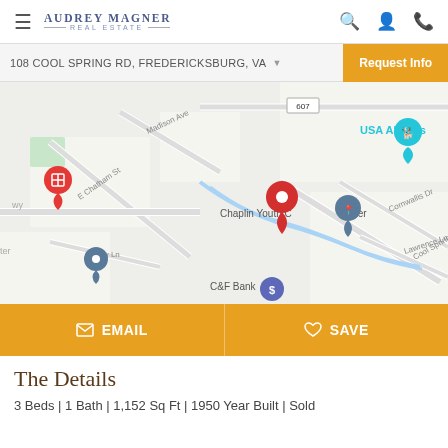Audrey Magner Real Estate — navigation bar with hamburger menu, logo, search, account, and phone icons
108 COOL SPRING RD, FREDERICKSBURG, VA
Request Info
[Figure (map): Google Maps view centered on 108 Cool Spring Rd, Fredericksburg, VA showing nearby streets: E Chatham St, Madison Ave, Dairy Ln, Cool Springs Rd, Cornwallis Dr, Lawrence Ln. Landmarks visible: USA Allstars, Chaplin Youth Center, C&F Bank. Multiple map pins including red location marker for the property.]
EMAIL   SAVE
The Details
3 Beds | 1 Bath | 1,152 Sq Ft | 1950 Year Built | Sold